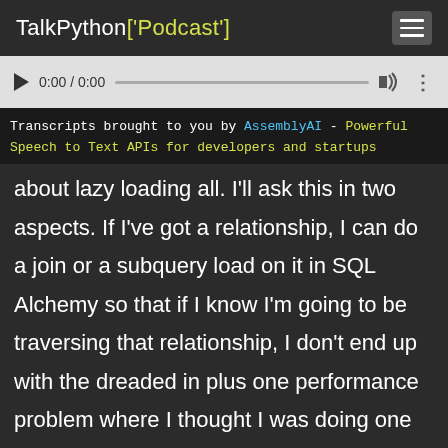TalkPython['Podcast']
[Figure (screenshot): Audio player with play button, time 0:00 / 0:00, progress bar, volume icon, and more options icon]
Transcripts brought to you by AssemblyAI - Powerful Speech to Text APIs for developers and startups
about lazy loading all. I'll ask this in two aspects. If I've got a relationship, I can do a join or a subquery load on it in SQL Alchemy so that if I know I'm going to be traversing that relationship, I don't end up with the dreaded in plus one performance problem where I thought I was doing one query and